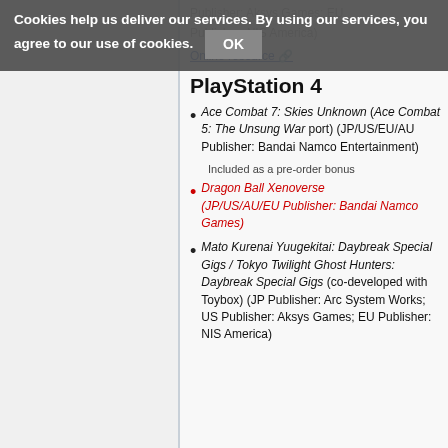Cookies help us deliver our services. By using our services, you agree to our use of cookies. OK
Publisher: Aksys Games; EU Publisher: NIS America)
Online resource
PlayStation 4
Ace Combat 7: Skies Unknown (Ace Combat 5: The Unsung War port) (JP/US/EU/AU Publisher: Bandai Namco Entertainment)
Included as a pre-order bonus
Dragon Ball Xenoverse (JP/US/AU/EU Publisher: Bandai Namco Games)
Mato Kurenai Yuugekitai: Daybreak Special Gigs / Tokyo Twilight Ghost Hunters: Daybreak Special Gigs (co-developed with Toybox) (JP Publisher: Arc System Works; US Publisher: Aksys Games; EU Publisher: NIS America)